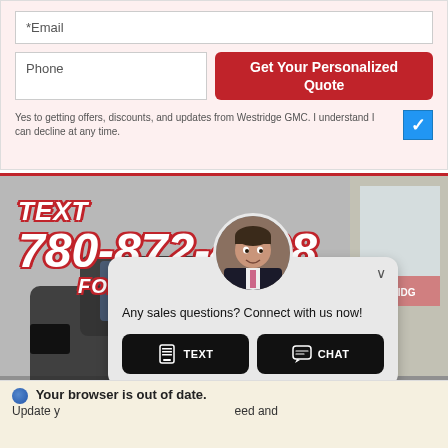[Figure (screenshot): Website form section with email input, phone input, Get Your Personalized Quote button, and checkbox with consent text]
[Figure (photo): Dealership promotional image showing dark truck/SUV in showroom with overlaid text: TEXT 780-872-4598 FOR MORE INFO!]
[Figure (screenshot): Chat popup widget with salesperson avatar, message 'Any sales questions? Connect with us now!' and TEXT and CHAT buttons]
Your browser is out of date. Update your browser for more security, speed and